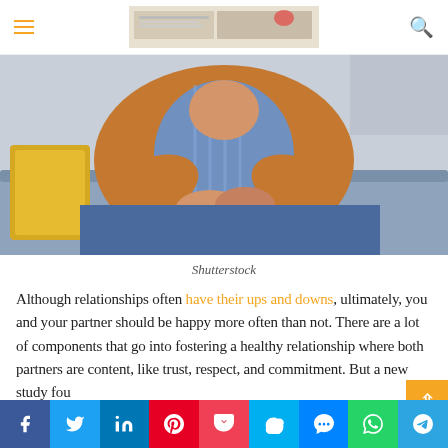THE LOVE AND SEX NEWS
[Figure (photo): Person sitting on a grey sofa wearing an orange cardigan over a blue striped shirt, hands clasped together, yellow pillow visible on left]
Shutterstock
Although relationships often have their ups and downs, ultimately, you and your partner should be happy more often than not. There are a lot of components that go into fostering a healthy relationship where both partners are content, like trust, respect, and commitment. But a new study fou